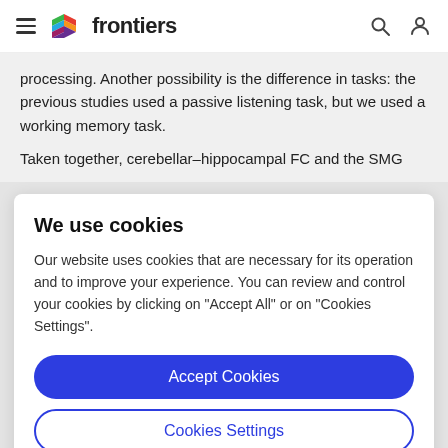frontiers
processing. Another possibility is the difference in tasks: the previous studies used a passive listening task, but we used a working memory task.
Taken together, cerebellar-hippocampal FC and the SMG
We use cookies
Our website uses cookies that are necessary for its operation and to improve your experience. You can review and control your cookies by clicking on "Accept All" or on "Cookies Settings".
Accept Cookies
Cookies Settings